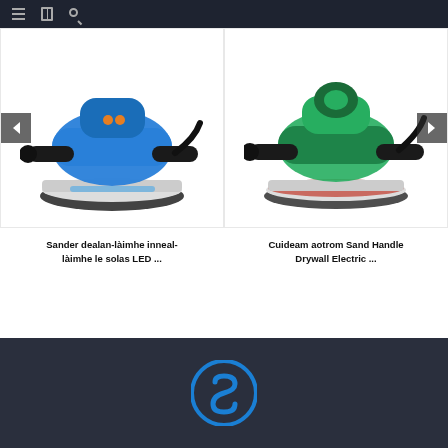Navigation bar with menu, bookmark, and search icons
[Figure (photo): Blue electric drywall sander hand tool with LED light, black handles, circular sanding pad]
Sander dealan-làimhe inneal-làimhe le solas LED ...
[Figure (photo): Teal/green electric drywall sander with black handles, circular orange-rimmed sanding pad]
Cuideam aotrom Sand Handle Drywall Electric ...
[Figure (logo): Circular blue logo with stylized S letter in center, dark background footer]